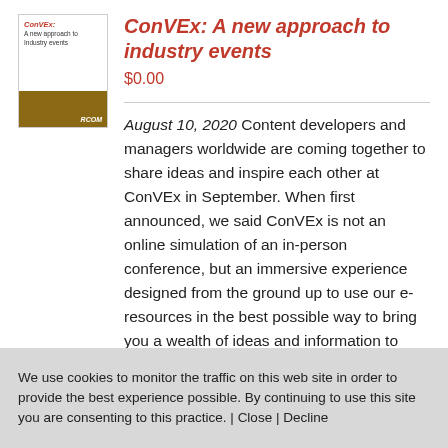[Figure (illustration): Book cover thumbnail showing 'ConVEx: A new approach to industry events' with red italic title text on white background and brown/tan bottom strip with a logo mark]
ConVEx: A new approach to industry events
$0.00
August 10, 2020 Content developers and managers worldwide are coming together to share ideas and inspire each other at ConVEx in September. When first announced, we said ConVEx is not an online simulation of an in-person conference, but an immersive experience designed from the ground up to use our e-resources in the best possible way to bring you a wealth of ideas and information to
We use cookies to monitor the traffic on this web site in order to provide the best experience possible. By continuing to use this site you are consenting to this practice. | Close | Decline